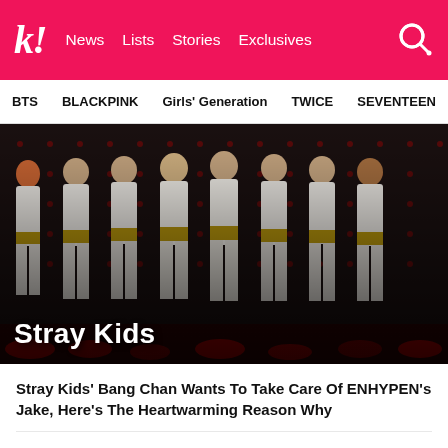k! News Lists Stories Exclusives
BTS   BLACKPINK   Girls' Generation   TWICE   SEVENTEEN
[Figure (photo): Eight members of Stray Kids posing together on stage wearing white outfits with gold belts, with a red-lit stage background]
Stray Kids
Stray Kids' Bang Chan Wants To Take Care Of ENHYPEN's Jake, Here's The Heartwarming Reason Why
Stray Kids' Bang Chan Spills On What It Was Like To MC